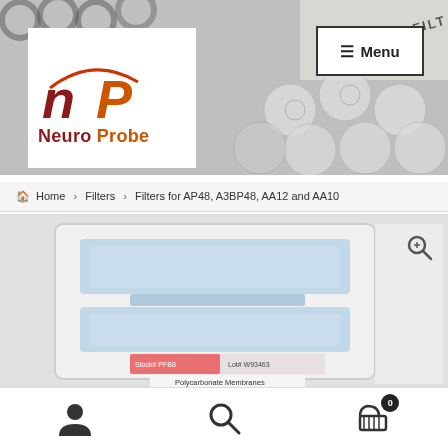[Figure (screenshot): Neuro Probe website header with logo and background showing framed filter membrane products. White logo box in top-left with 'nP' monogram and 'Neuro Probe' text. Menu button in top-right.]
Home > Filters > Filters for AP48, A3BP48, AA12 and AA10
[Figure (photo): Product photo of Neuro Probe polycarbonate membrane filters in a clear plastic case, showing layered filter membranes with label reading 'Stock# PFB8, Lot# W93463, Polycarbonate Membranes']
[Figure (infographic): Bottom navigation toolbar with user/account icon, search icon, and shopping cart icon with badge showing 0 items]